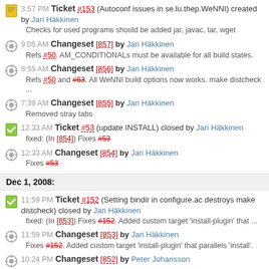3:57 PM Ticket #153 (Autoconf issues in se.lu.thep.WeNNI) created by Jari Häkkinen
Checks for used programs should be added jar, javac, tar, wget
9:05 AM Changeset [857] by Jari Häkkinen
Refs #50. AM_CONDITIONALs must be available for all build states.
8:55 AM Changeset [856] by Jari Häkkinen
Refs #50 and #63. All WeNNI build options now works. make distcheck ...
7:39 AM Changeset [855] by Jari Häkkinen
Removed stray tabs
12:33 AM Ticket #53 (update INSTALL) closed by Jari Häkkinen
fixed: (In [854]) Fixes #53
12:33 AM Changeset [854] by Jari Häkkinen
Fixes #53
Dec 1, 2008:
11:59 PM Ticket #152 (Setting bindir in configure.ac destroys make distcheck) closed by Jari Häkkinen
fixed: (In [853]) Fixes #152. Added custom target 'install-plugin' that ...
11:59 PM Changeset [853] by Jari Häkkinen
Fixes #152. Added custom target 'install-plugin' that parallels 'install'.
10:24 PM Changeset [852] by Peter Johansson